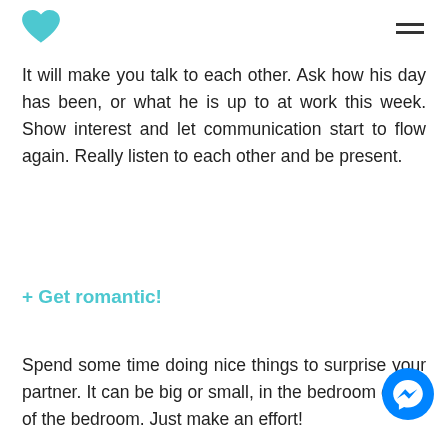Heart logo and navigation menu
It will make you talk to each other. Ask how his day has been, or what he is up to at work this week. Show interest and let communication start to flow again. Really listen to each other and be present.
+ Get romantic!
Spend some time doing nice things to surprise your partner. It can be big or small, in the bedroom or out of the bedroom. Just make an effort!